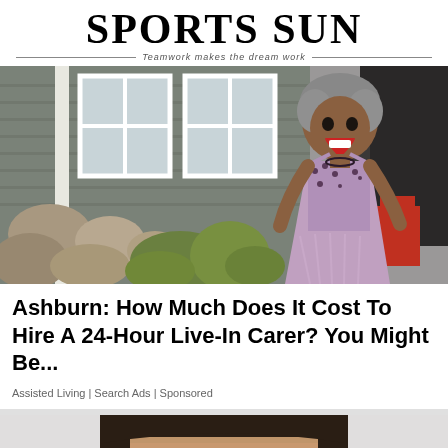SPORTS SUN — Teamwork makes the dream work
[Figure (photo): A smiling woman with gray curly hair wearing a purple/lavender beaded halter dress, standing outdoors in front of a house with stone landscaping and windows]
Ashburn: How Much Does It Cost To Hire A 24-Hour Live-In Carer? You Might Be...
Assisted Living | Search Ads | Sponsored
[Figure (photo): Close-up photo of a young man with dark brown hair, face partially visible from forehead to chin]